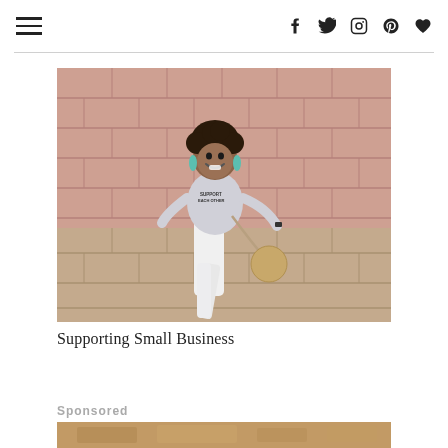Navigation header with hamburger menu and social icons (f, twitter, instagram, pinterest, heart)
[Figure (photo): A smiling woman with curly hair wearing a light grey t-shirt reading 'Support Each Other', white jeans, teal earrings and a round straw crossbody bag, jumping/posing in front of a pink-painted cinder block wall.]
Supporting Small Business
Sponsored
[Figure (photo): Partial bottom photo, cut off, appears to show a warmly-lit outdoor scene.]